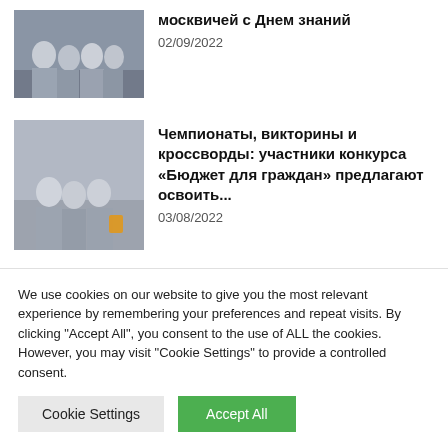москвичей с Днем знаний
02/09/2022
Чемпионаты, викторины и кроссворды: участники конкурса «Бюджет для граждан» предлагают освоить...
03/08/2022
Moscow schoolchildren won four medals at the International
We use cookies on our website to give you the most relevant experience by remembering your preferences and repeat visits. By clicking "Accept All", you consent to the use of ALL the cookies. However, you may visit "Cookie Settings" to provide a controlled consent.
Cookie Settings
Accept All